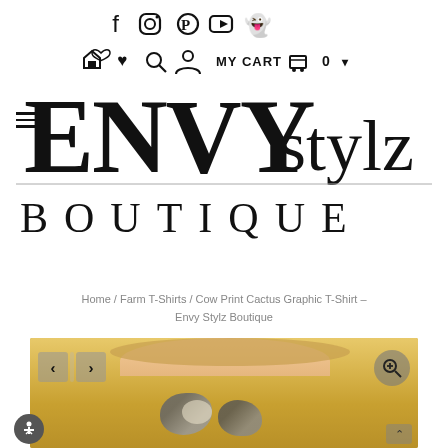Social media icons: Facebook, Instagram, Pinterest, YouTube, Snapchat
Home icon, Heart icon, Search icon, Account icon, MY CART cart-icon 0 dropdown
[Figure (logo): ENVY Stylz Boutique logo — large bold ENVY in distressed serif font, stylz in cursive script, BOUTIQUE in wide-spaced caps below a horizontal rule]
Home / Farm T-Shirts / Cow Print Cactus Graphic T-Shirt – Envy Stylz Boutique
[Figure (photo): Product photo of a woman wearing a mustard yellow graphic T-shirt with cow print cactus design, shown from chin to mid-torso. Navigation arrows on left, zoom button on right.]